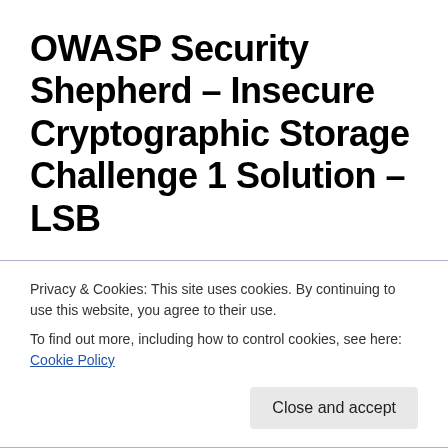OWASP Security Shepherd – Insecure Cryptographic Storage Challenge 1 Solution – LSB
Thanks for visiting and today we have another OWASP Security Shepherd Solution for you. This time it's the Insecure Cryptographic Storage Challenge. Cryptography is usually the safest way to communicate online but this
Privacy & Cookies: This site uses cookies. By continuing to use this website, you agree to their use.
To find out more, including how to control cookies, see here: Cookie Policy